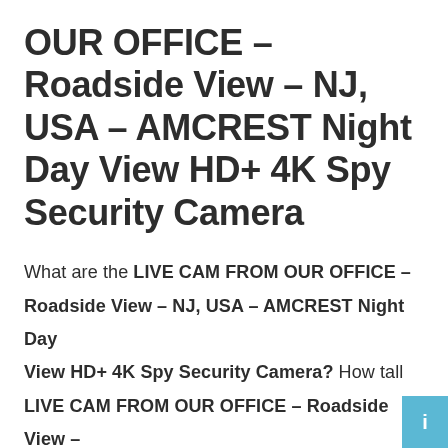OUR OFFICE – Roadside View – NJ, USA – AMCREST Night Day View HD+ 4K Spy Security Camera
What are the LIVE CAM FROM OUR OFFICE – Roadside View – NJ, USA – AMCREST Night Day View HD+ 4K Spy Security Camera? How tall LIVE CAM FROM OUR OFFICE – Roadside View – NJ, USA – AMCREST Night Day View HD+ 4K Spy Security Camera? In this article, you will learn how to convert LIVE CAM FROM OUR OFFICE –